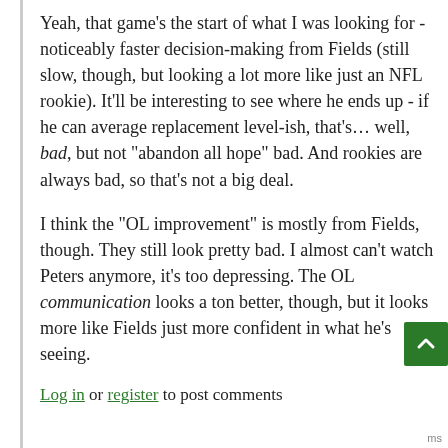Yeah, that game's the start of what I was looking for - noticeably faster decision-making from Fields (still slow, though, but looking a lot more like just an NFL rookie). It'll be interesting to see where he ends up - if he can average replacement level-ish, that's… well, bad, but not "abandon all hope" bad. And rookies are always bad, so that's not a big deal.
I think the "OL improvement" is mostly from Fields, though. They still look pretty bad. I almost can't watch Peters anymore, it's too depressing. The OL communication looks a ton better, though, but it looks more like Fields just more confident in what he's seeing.
Log in or register to post comments